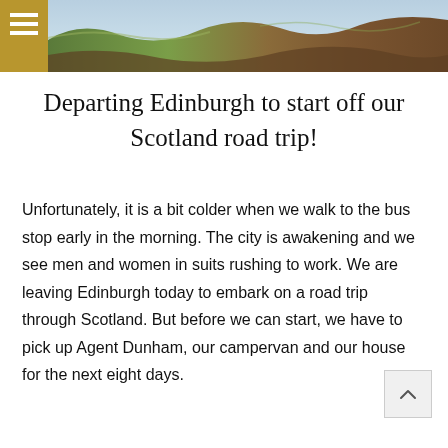[Figure (photo): Hero landscape photo showing green hills and earthy terrain in Scotland, partially covered by a gold/dark menu icon in the top-left corner]
Departing Edinburgh to start off our Scotland road trip!
Unfortunately, it is a bit colder when we walk to the bus stop early in the morning. The city is awakening and we see men and women in suits rushing to work. We are leaving Edinburgh today to embark on a road trip through Scotland. But before we can start, we have to pick up Agent Dunham, our campervan and our house for the next eight days.